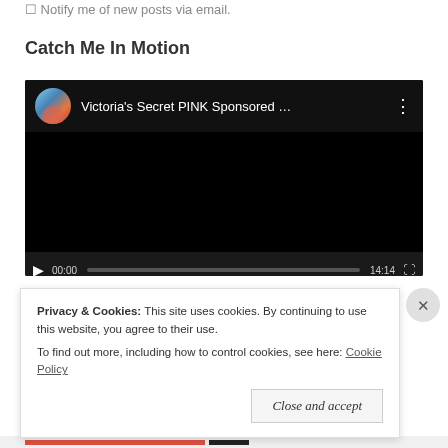Notify me of new posts via email.
Catch Me In Motion
[Figure (screenshot): Embedded YouTube video player showing 'Victoria's Secret PINK Sponsored ...' with a dark/black video area, play button, time 00:00 / 14:14, and progress bar.]
Privacy & Cookies:  This site uses cookies. By continuing to use this website, you agree to their use.
To find out more, including how to control cookies, see here: Cookie Policy
Close and accept